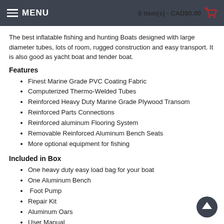MENU  0 item(s) - CAD$0.00
The best inflatable fishing and hunting Boats designed with large diameter tubes, lots of room, rugged construction and easy transport. It is also good as yacht boat and tender boat.
Features
Finest Marine Grade PVC Coating Fabric
Computerized Thermo-Welded Tubes
Reinforced Heavy Duty Marine Grade Plywood Transom
Reinforced Parts Connections
Reinforced aluminum Flooring System
Removable Reinforced Aluminum Bench Seats
More optional equipment for fishing
Included in Box
One heavy duty easy load bag for your boat
One Aluminum Bench
Foot Pump
Repair Kit
Aluminum Oars
User Manual